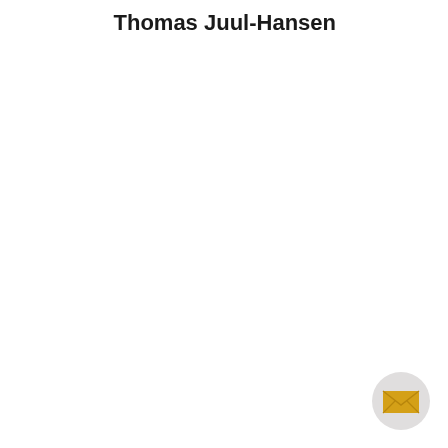Thomas Juul-Hansen
[Figure (illustration): A circular button/icon with light gray background containing a golden/yellow envelope mail icon in the bottom-right corner of the page.]